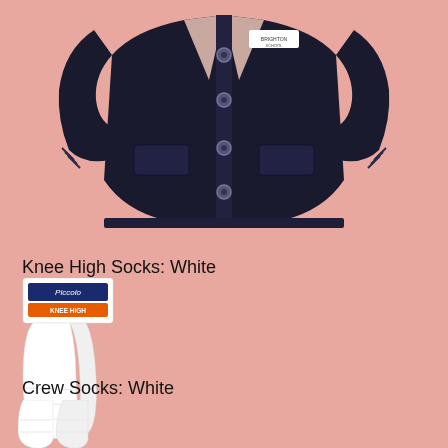[Figure (photo): Navy blue school cardigan sweater with button front, two lower pockets, and a Brighton School logo label at the chest. Photographed on a pink background.]
Knee High Socks: White
[Figure (photo): Package of white knee-high socks (Piccolo brand) shown with the socks folded below the packaging on a pink background.]
Crew Socks: White
[Figure (photo): Pair of white crew socks folded together on a pink background.]